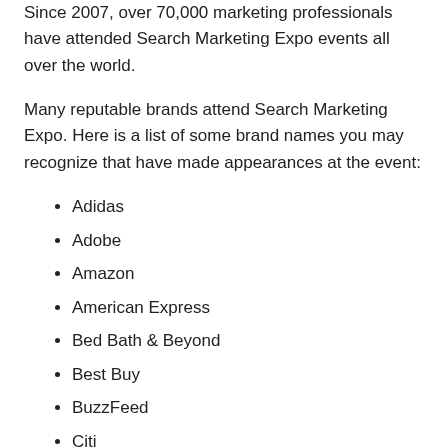Since 2007, over 70,000 marketing professionals have attended Search Marketing Expo events all over the world.
Many reputable brands attend Search Marketing Expo. Here is a list of some brand names you may recognize that have made appearances at the event:
Adidas
Adobe
Amazon
American Express
Bed Bath & Beyond
Best Buy
BuzzFeed
Citi
Coca-Cola
Dell
eBay